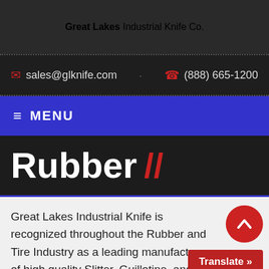Great Lakes Industrial Knife Co.
✉ sales@glknife.com   ☎ (888) 665-1200
≡ MENU
Rubber //
Great Lakes Industrial Knife is recognized throughout the Rubber and Tire Industry as a leading manufacturer of high quality Slitter, Guillotine, and Shear blades. Perform